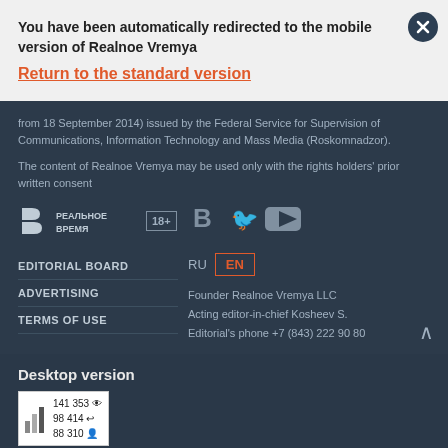You have been automatically redirected to the mobile version of Realnoe Vremya
Return to the standard version
from 18 September 2014) issued by the Federal Service for Supervision of Communications, Information Technology and Mass Media (Roskomnadzor).
The content of Realnoe Vremya may be used only with the rights holders' prior written consent
[Figure (logo): Realnoe Vremya logo in white on dark background with Cyrillic text РЕАЛЬНОЕ ВРЕМЯ, and 18+ age badge]
[Figure (logo): Social media icons: VK (B), Twitter bird, YouTube play button]
EDITORIAL BOARD
ADVERTISING
TERMS OF USE
RU  EN
Founder Realnoe Vremya LLC
Acting editor-in-chief Kosheev S.
Editorial's phone +7 (843) 222 90 80
Desktop version
[Figure (infographic): Stats widget showing: 141 353 (eye icon), 98 414 (share icon), 88 310 (person icon)]